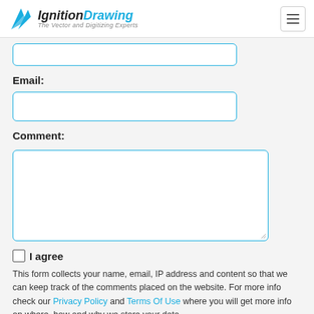IgnitionDrawing — The Vector and Digitizing Experts
Email:
Comment:
I agree
This form collects your name, email, IP address and content so that we can keep track of the comments placed on the website. For more info check our Privacy Policy and Terms Of Use where you will get more info on where, how and why we store your data.